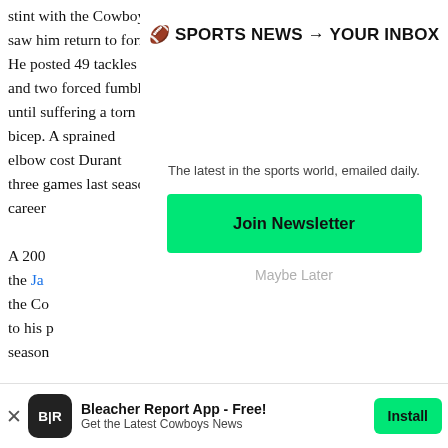stint with the Cowboys saw him return to form. He posted 49 tackles and two forced fumbles until suffering a torn bicep. A sprained elbow cost Durant three games last season... career...
🏈 SPORTS NEWS → YOUR INBOX
A 200... the Ja... the Co... to his p... season...
The latest in the sports world, emailed daily.
Join Newsletter
Maybe Later
The C... spot st... bad fo... numbe...
Bleacher Report App - Free!
Get the Latest Cowboys News
Install